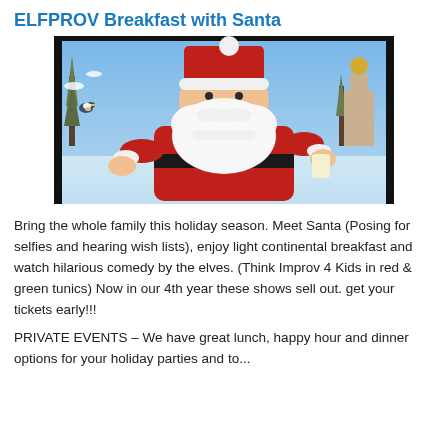ELFPROV Breakfast with Santa
[Figure (photo): Photo of a person dressed as Santa Claus seated against a painted winter holiday background scene with snow-covered trees, a small bird, and a church with golden domes in the background.]
Bring the whole family this holiday season. Meet Santa (Posing for selfies and hearing wish lists), enjoy light continental breakfast and watch hilarious comedy by the elves. (Think Improv 4 Kids in red & green tunics) Now in our 4th year these shows sell out. get your tickets early!!!
PRIVATE EVENTS – We have great lunch, happy hour and dinner options for your holiday parties and to...